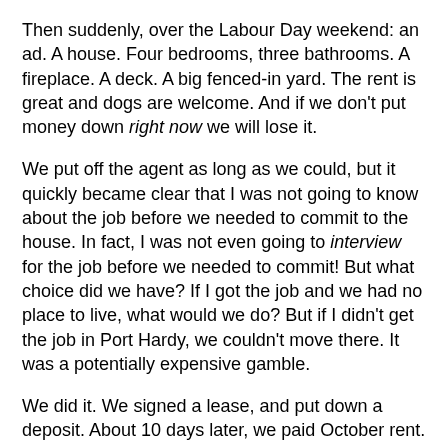Then suddenly, over the Labour Day weekend: an ad. A house. Four bedrooms, three bathrooms. A fireplace. A deck. A big fenced-in yard. The rent is great and dogs are welcome. And if we don't put money down right now we will lose it.
We put off the agent as long as we could, but it quickly became clear that I was not going to know about the job before we needed to commit to the house. In fact, I was not even going to interview for the job before we needed to commit! But what choice did we have? If I got the job and we had no place to live, what would we do? But if I didn't get the job in Port Hardy, we couldn't move there. It was a potentially expensive gamble.
We did it. We signed a lease, and put down a deposit. About 10 days later, we paid October rent. And two days after that, I had my interview! Ohmygod has this been stressful!
And today, just a few hours ago, I found out I got it. Whew.
The problem with being a risk-taker is that every time a